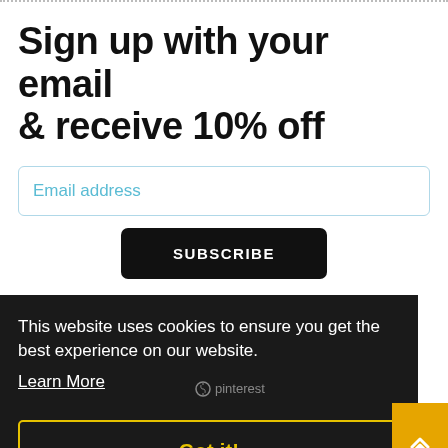Sign up with your email & receive 10% off
Email address
SUBSCRIBE
This website uses cookies to ensure you get the best experience on our website.
Learn More
Got it!
[Figure (other): Payment logos: PayPal, VISA, Mastercard, American Express, Discover]